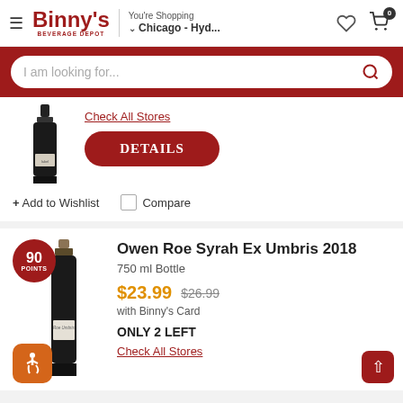Binny's Beverage Depot — You're Shopping Chicago - Hyd...
I am looking for...
Check All Stores
DETAILS
+ Add to Wishlist
Compare
Owen Roe Syrah Ex Umbris 2018
750 ml Bottle
$23.99  $26.99 with Binny's Card
ONLY 2 LEFT
Check All Stores